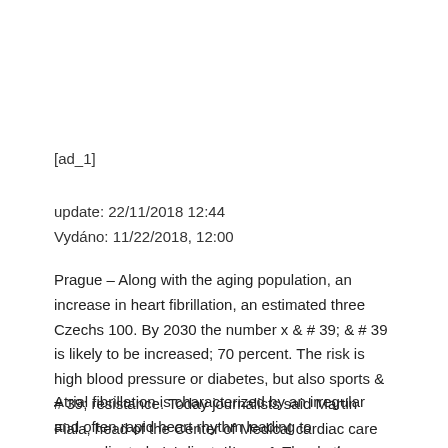[ad_1]
update: 22/11/2018 12:44
Vydáno: 11/22/2018, 12:00
Prague – Along with the aging population, an increase in heart fibrillation, an estimated three Czechs 100. By 2030 the number x & # 39; & # 39 is likely to be increased; 70 percent. The risk is high blood pressure or diabetes, but also sports & # 39; resistance. Today journalists said Martin Fiala, head of the Center of Medical cardiac care neuron Brno and the president of the Czech Association for Heart Rhythm Martin Fiala.
Atrial fibrillation is characterized by an irregular and often rapid heart rhythm leading to uncoordinated coordinated arrest. The rhythm